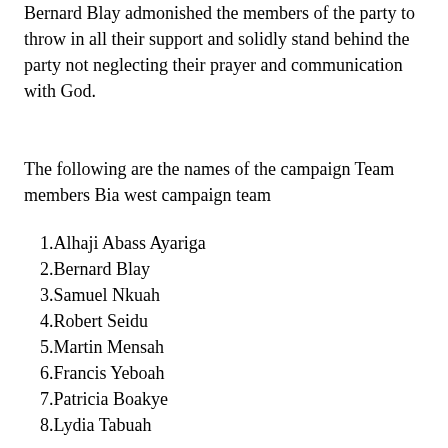Bernard Blay admonished the members of the party to throw in all their support and solidly stand behind the party not neglecting their prayer and communication with God.
The following are the names of the campaign Team members Bia west campaign team
1.Alhaji Abass Ayariga
2.Bernard Blay
3.Samuel Nkuah
4.Robert Seidu
5.Martin Mensah
6.Francis Yeboah
7.Patricia Boakye
8.Lydia Tabuah
9.Blankson Fosu
10.Richard Ben Dadzie
11.Issac Amanor
12.Thomas Baidoo